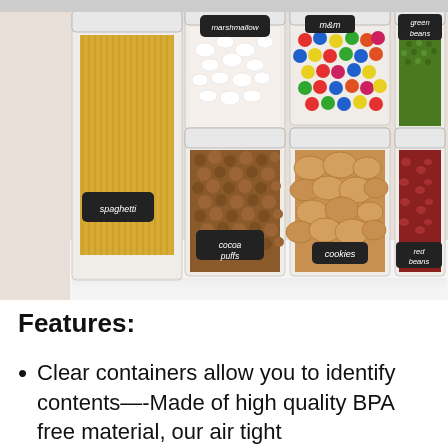[Figure (photo): A photo of multiple clear airtight food storage containers holding various foods: spaghetti (labeled 'spaghetti'), marshmallows (labeled 'marshmallow'), M&M candies (labeled 'm&m'), green beans (labeled 'green beans'), cocoa puffs (labeled 'cocoa puffs'), cookies (labeled 'cookies'), and red beans (labeled 'red beans'). Containers have white lids and chalkboard-style labels.]
Features:
Clear containers allow you to identify contents—-Made of high quality BPA free material, our air tight